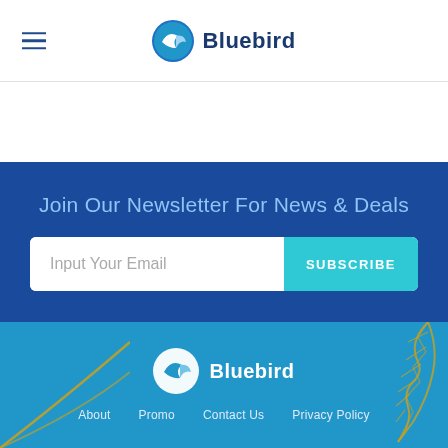Bluebird
Join Our Newsletter For News & Deals
Input Your Email  SUBSCRIBE
[Figure (logo): Bluebird logo with white bird icon on blue background and text 'Bluebird']
About  Promo  Contact Us  Privacy Policy